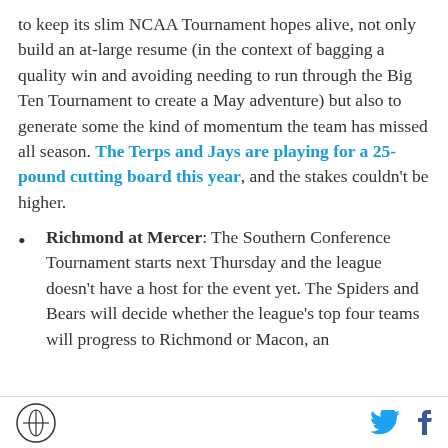to keep its slim NCAA Tournament hopes alive, not only build an at-large resume (in the context of bagging a quality win and avoiding needing to run through the Big Ten Tournament to create a May adventure) but also to generate some the kind of momentum the team has missed all season. The Terps and Jays are playing for a 25-pound cutting board this year, and the stakes couldn't be higher.
Richmond at Mercer: The Southern Conference Tournament starts next Thursday and the league doesn't have a host for the event yet. The Spiders and Bears will decide whether the league's top four teams will progress to Richmond or Macon, an
[logo] [twitter] [facebook]